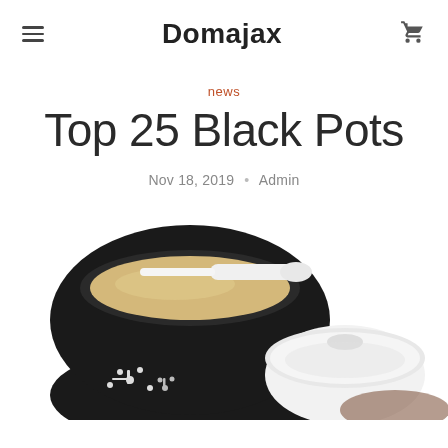Domajax
news
Top 25 Black Pots
Nov 18, 2019 • Admin
[Figure (photo): A black ceramic pot filled with yellowish powder and a white spoon, with a white lid beside it, photographed from above on a white background.]